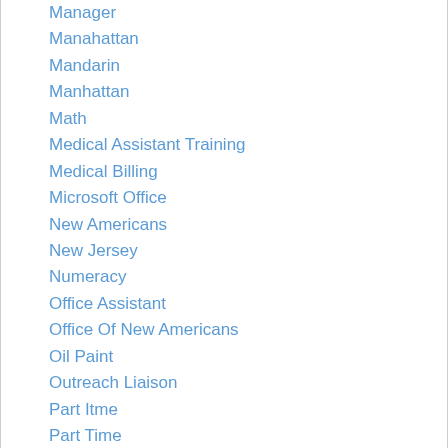Manager
Manahattan
Mandarin
Manhattan
Math
Medical Assistant Training
Medical Billing
Microsoft Office
New Americans
New Jersey
Numeracy
Office Assistant
Office Of New Americans
Oil Paint
Outreach Liaison
Part Itme
Part Time
Pashto/Dari
Pre HSE
Pre-HSE
Professional Development